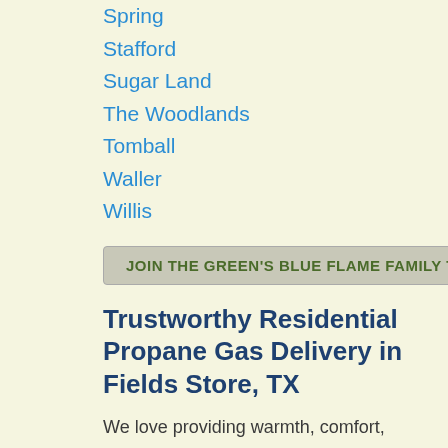Spring
Stafford
Sugar Land
The Woodlands
Tomball
Waller
Willis
JOIN THE GREEN'S BLUE FLAME FAMILY T
Trustworthy Residential Propane Gas Delivery in Fields Store, TX
We love providing warmth, comfort, power, and safety to residents in and around Fields Store, TX. For this reason, we provide quality residential LP gas services to our customers. Our residential propane